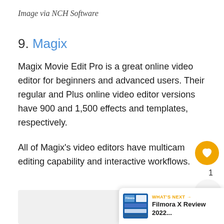Image via NCH Software
9. Magix
Magix Movie Edit Pro is a great online video editor for beginners and advanced users. Their regular and Plus online video editor versions have 900 and 1,500 effects and templates, respectively.
All of Magix's video editors have multicam editing capability and interactive workflows.
[Figure (other): Gray content placeholder area at bottom of page]
[Figure (other): Heart/like button (orange circle with heart icon) showing count of 1, and a share button below it]
[Figure (other): What's Next banner: Filmora X Review 2022... with thumbnail image]